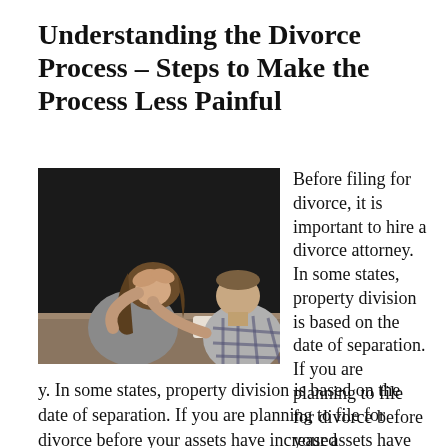Understanding the Divorce Process – Steps to Make the Process Less Painful
[Figure (photo): A distressed woman with her head in her hands, sitting at a table across from a man in a plaid shirt who appears to be speaking to her.]
Before filing for divorce, it is important to hire a divorce attorney. In some states, property division is based on the date of separation. If you are planning to file for divorce before your assets have increased